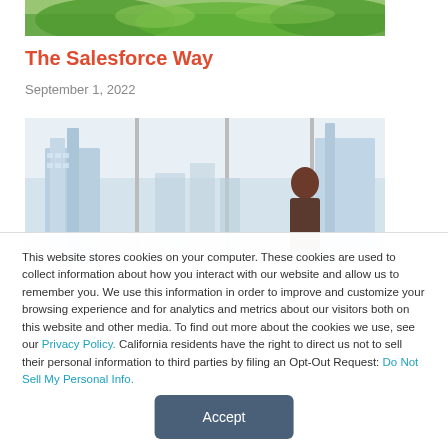[Figure (photo): Partial green nature/tree image strip at top of page]
The Salesforce Way
September 1, 2022
[Figure (photo): Office building interior with large windows, city skyline visible, person standing with back to viewer]
This website stores cookies on your computer. These cookies are used to collect information about how you interact with our website and allow us to remember you. We use this information in order to improve and customize your browsing experience and for analytics and metrics about our visitors both on this website and other media. To find out more about the cookies we use, see our Privacy Policy. California residents have the right to direct us not to sell their personal information to third parties by filing an Opt-Out Request: Do Not Sell My Personal Info.
Accept